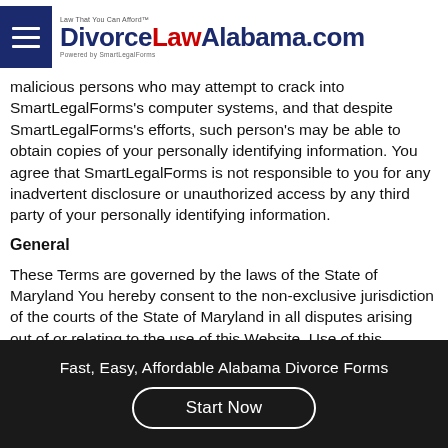DivorceLawAlabama.com — Law That You Can Afford — Powered by SmartLegalForms
malicious persons who may attempt to crack into SmartLegalForms's computer systems, and that despite SmartLegalForms's efforts, such person's may be able to obtain copies of your personally identifying information. You agree that SmartLegalForms is not responsible to you for any inadvertent disclosure or unauthorized access by any third party of your personally identifying information.
General
These Terms are governed by the laws of the State of Maryland You hereby consent to the non-exclusive jurisdiction of the courts of the State of Maryland in all disputes arising out of or relating to the use of this Website. Use of this Website is unauthorized in any jurisdiction that does not give effect to all provisions of these Terms,
Fast, Easy, Affordable Alabama Divorce Forms
Start Now